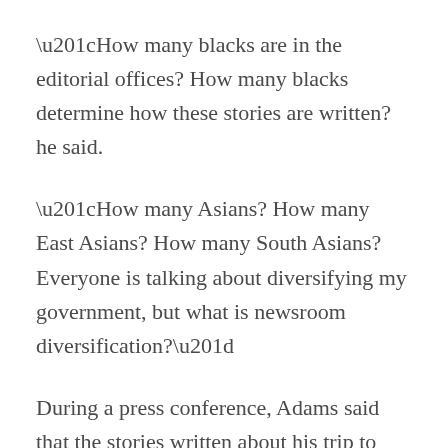“How many blacks are in the editorial offices? How many blacks determine how these stories are written? he said.
“How many Asians? How many East Asians? How many South Asians? Everyone is talking about diversifying my government, but what is newsroom diversification?”
During a press conference, Adams said that the stories written about his trip to Albany were not made for the New Yorkers he fought for.
“You don’t write for people who were almost homeless like me,” he said. “You don’t write for